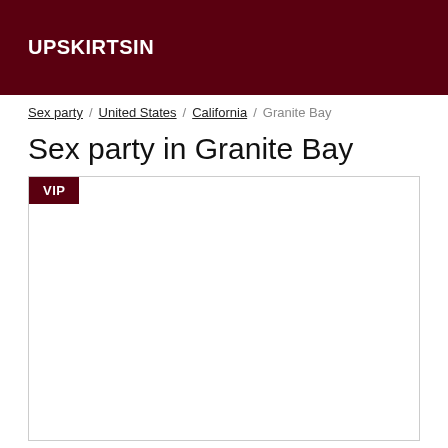UPSKIRTSIN
Sex party / United States / California / Granite Bay
Sex party in Granite Bay
[Figure (other): Card/listing area with a VIP badge in the top-left corner and an empty white content area below it, bordered by a light gray rectangle.]